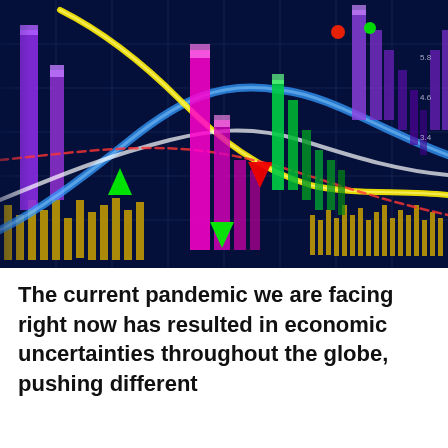[Figure (photo): A digital stock market trading chart display with colorful candlestick bars (purple, magenta, green, yellow), glowing curved trend lines (blue, yellow, white, red dashed), upward and downward triangle indicators (green and red), all on a dark navy blue background with grid lines.]
The current pandemic we are facing right now has resulted in economic uncertainties throughout the globe, pushing different